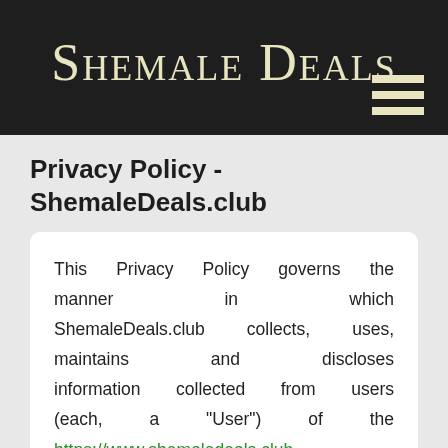Shemale Deals
Privacy Policy - ShemaleDeals.club
This Privacy Policy governs the manner in which ShemaleDeals.club collects, uses, maintains and discloses information collected from users (each, a "User") of the https://www.shemaledeals.club website ("Site"). This privacy